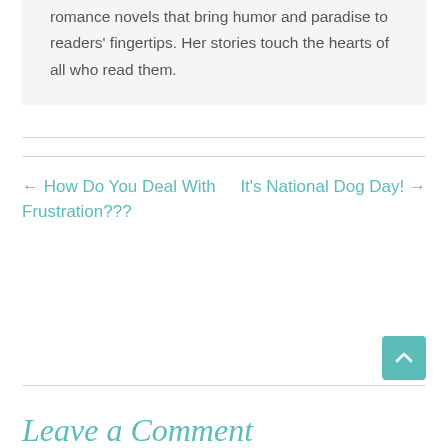romance novels that bring humor and paradise to readers' fingertips. Her stories touch the hearts of all who read them.
← How Do You Deal With Frustration???
It's National Dog Day! →
Leave a Comment